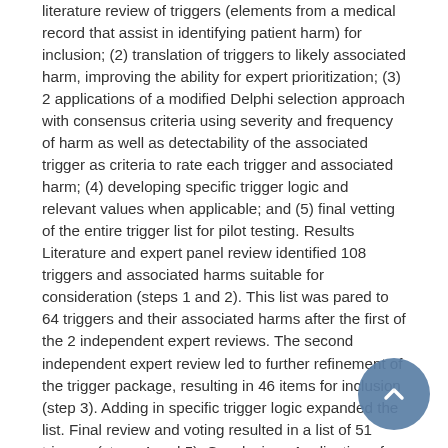literature review of triggers (elements from a medical record that assist in identifying patient harm) for inclusion; (2) translation of triggers to likely associated harm, improving the ability for expert prioritization; (3) 2 applications of a modified Delphi selection approach with consensus criteria using severity and frequency of harm as well as detectability of the associated trigger as criteria to rate each trigger and associated harm; (4) developing specific trigger logic and relevant values when applicable; and (5) final vetting of the entire trigger list for pilot testing. Results Literature and expert panel review identified 108 triggers and associated harms suitable for consideration (steps 1 and 2). This list was pared to 64 triggers and their associated harms after the first of the 2 independent expert reviews. The second independent expert review led to further refinement of the trigger package, resulting in 46 items for inclusion (step 3). Adding in specific trigger logic expanded the list. Final review and voting resulted in a list of 51 triggers (steps 4 and 5). Conclusions Application of a modified Delphi method on an expert-constructed list of 108 triggers, focusing on severity and frequency of harms as well as detectability of triggers in an electronic medical record, resulted in a final list of 51 pediatric triggers. Pilot testing this list of pediatric triggers to identify all-cause harm for pediatric inpatients is the next step to establish